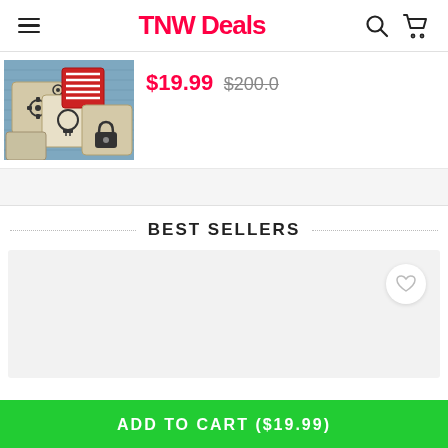TNW Deals
$19.99 $200.0
[Figure (photo): Product image showing wooden blocks with icons (gears, lightbulb, padlock) and a red block with stripes on a blue background]
BEST SELLERS
[Figure (other): Product card placeholder with a heart/wishlist button in the top right corner]
ADD TO CART ($19.99)